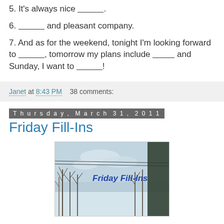5. It's always nice _______.
6. ______ and pleasant company.
7. And as for the weekend, tonight I'm looking forward to ______, tomorrow my plans include ______ and Sunday, I want to ______!
Janet at 8:43 PM    38 comments:
Thursday, March 31, 2011
Friday Fill-Ins
[Figure (photo): Winter scene photograph with bare trees and snowy landscape, with 'Friday Fill-Ins' text overlay in blue font]